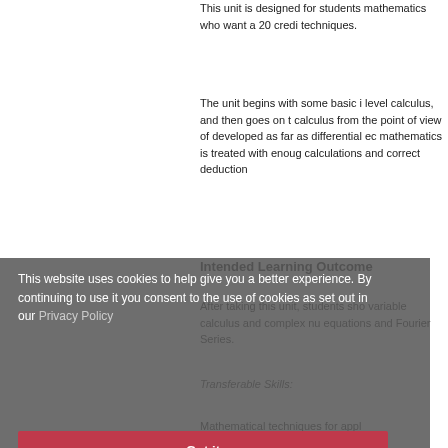This unit is designed for students mathematics who want a 20 credi techniques.
The unit begins with some basic i level calculus, and then goes on t calculus from the point of view of developed as far as differential ec mathematics is treated with enoug calculations and correct deduction
Intended Learning Outcome
After taking this unit, students sho variable calculus and complex nu equations and Fourier Series.
Transferable Skills:
Mathematical techniques for appl
This website uses cookies to help give you a better experience. By continuing to use it you consent to the use of cookies as set out in our Privacy Policy
Got it